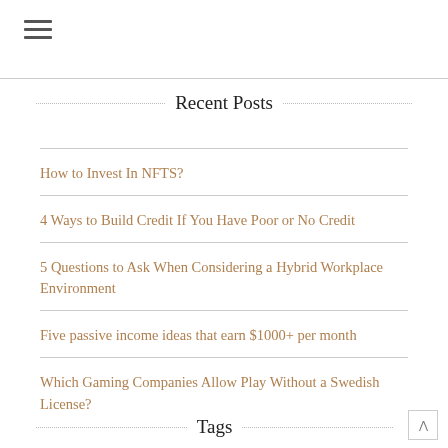≡
Recent Posts
How to Invest In NFTS?
4 Ways to Build Credit If You Have Poor or No Credit
5 Questions to Ask When Considering a Hybrid Workplace Environment
Five passive income ideas that earn $1000+ per month
Which Gaming Companies Allow Play Without a Swedish License?
Tags